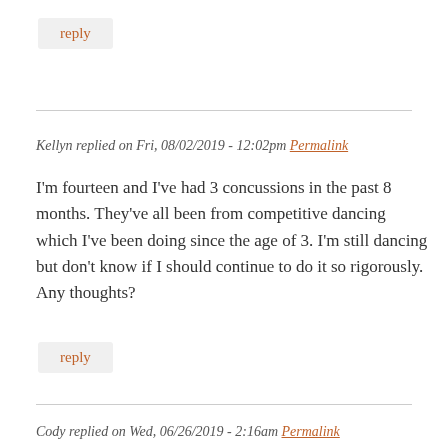reply
Kellyn replied on Fri, 08/02/2019 - 12:02pm Permalink
I'm fourteen and I've had 3 concussions in the past 8 months. They've all been from competitive dancing which I've been doing since the age of 3. I'm still dancing but don't know if I should continue to do it so rigorously. Any thoughts?
reply
Cody replied on Wed, 06/26/2019 - 2:16am Permalink